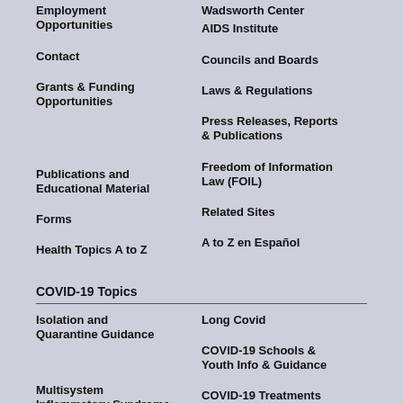Employment Opportunities
Wadsworth Center
AIDS Institute
Contact
Councils and Boards
Grants & Funding Opportunities
Laws & Regulations
Press Releases, Reports & Publications
Publications and Educational Material
Freedom of Information Law (FOIL)
Forms
Related Sites
Health Topics A to Z
A to Z en Español
COVID-19 Topics
Isolation and Quarantine Guidance
Long Covid
COVID-19 Schools & Youth Info & Guidance
Multisystem Inflammatory Syndrome
COVID-19 Treatments